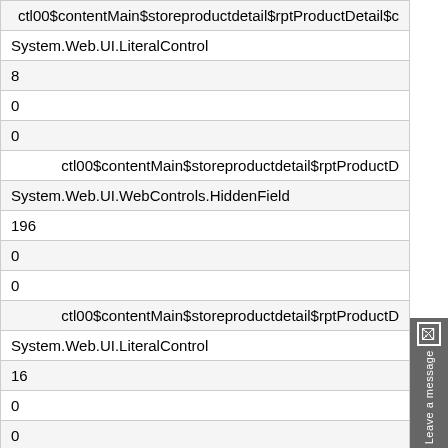| ctl00$contentMain$storeproductdetail$rptProductDetail$c |
| System.Web.UI.LiteralControl |
| 8 |
| 0 |
| 0 |
| ctl00$contentMain$storeproductdetail$rptProductD |
| System.Web.UI.WebControls.HiddenField |
| 196 |
| 0 |
| 0 |
| ctl00$contentMain$storeproductdetail$rptProductD |
| System.Web.UI.LiteralControl |
| 16 |
| 0 |
| 0 |
| ctl00$contentMain$storeproductdetail$rptProductDetail$c |